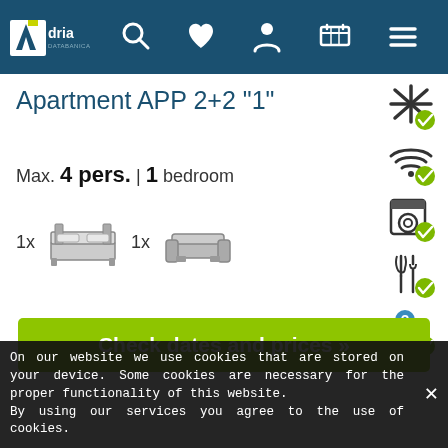Adria Databanica navigation bar with search, favorites, account, cart, menu icons
Apartment APP 2+2 "1"
Max. 4 pers. | 1 bedroom
[Figure (infographic): Bed icons: 1x double bed, 1x sofa bed]
[Figure (infographic): Amenity icons: air conditioning, wifi, washing machine, restaurant/dining, pets (question mark)]
Show complete information
Check dates and prices »
On our website we use cookies that are stored on your device. Some cookies are necessary for the proper functionality of this website.
By using our services you agree to the use of cookies.